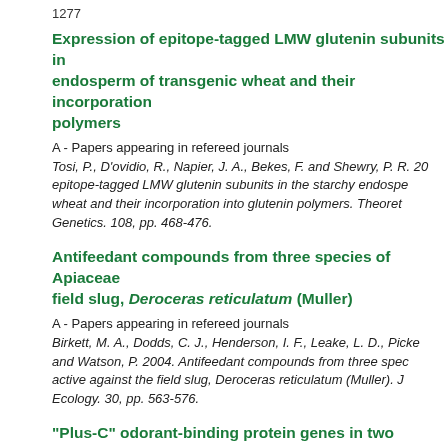1277
Expression of epitope-tagged LMW glutenin subunits in endosperm of transgenic wheat and their incorporation into polymers
A - Papers appearing in refereed journals
Tosi, P., D'ovidio, R., Napier, J. A., Bekes, F. and Shewry, P. R. 20... epitope-tagged LMW glutenin subunits in the starchy endospe... wheat and their incorporation into glutenin polymers. Theoret... Genetics. 108, pp. 468-476.
Antifeedant compounds from three species of Apiaceae active against the field slug, Deroceras reticulatum (Muller)
A - Papers appearing in refereed journals
Birkett, M. A., Dodds, C. J., Henderson, I. F., Leake, L. D., Picke... and Watson, P. 2004. Antifeedant compounds from three spec... active against the field slug, Deroceras reticulatum (Muller). J... Ecology. 30, pp. 563-576.
"Plus-C" odorant-binding protein genes in two Drosophi... malaria mosquito Anopheles gambiae